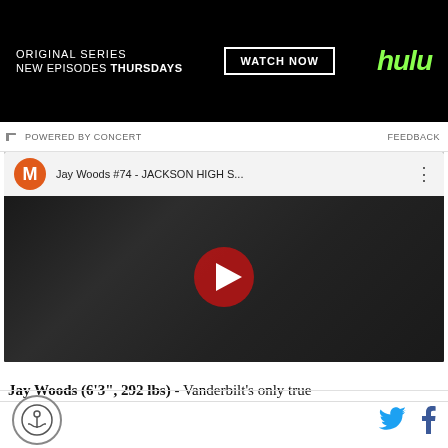[Figure (screenshot): Hulu advertisement banner with dark background showing 'ORIGINAL SERIES NEW EPISODES THURSDAYS' with WATCH NOW button and Hulu logo]
⊏ POWERED BY CONCERT    FEEDBACK
[Figure (screenshot): YouTube video embed showing Jay Woods #74 - JACKSON HIGH S... with play button overlay on football field footage]
Jay Woods (6'3", 292 lbs) - Vanderbilt's only true
[Figure (logo): Anchor logo circular icon]
[Figure (infographic): Twitter and Facebook social share icons]